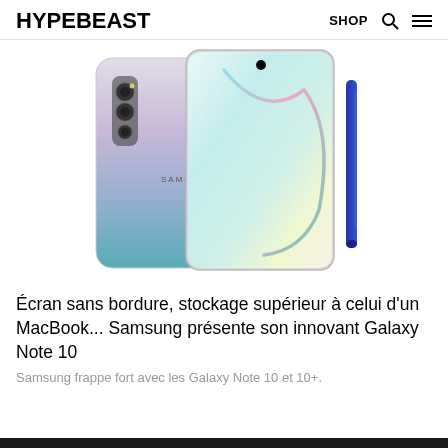HYPEBEAST  SHOP
[Figure (photo): Samsung Galaxy Note 10 smartphone shown from front and back, alongside a blue S Pen stylus. The back has a gradient from silver/purple to teal/blue and features a triple camera array. The front shows an edge-to-edge display with a centered punch-hole camera.]
Écran sans bordure, stockage supérieur à celui d'un MacBook... Samsung présente son innovant Galaxy Note 10
Samsung frappe fort avec les Galaxy Note 10 et 10+.